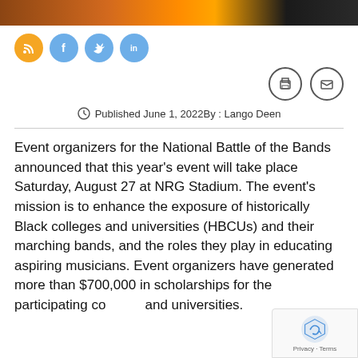[Figure (photo): Top banner image with warm tones — brown, orange, dark silhouette]
[Figure (infographic): Social media share icons: RSS (orange), Facebook (blue), Twitter (blue), LinkedIn (blue)]
[Figure (infographic): Print and email action icons (dark outlined circles)]
Published June 1, 2022By : Lango Deen
Event organizers for the National Battle of the Bands announced that this year's event will take place Saturday, August 27 at NRG Stadium. The event's mission is to enhance the exposure of historically Black colleges and universities (HBCUs) and their marching bands, and the roles they play in educating aspiring musicians. Event organizers have generated more than $700,000 in scholarships for the participating colleges and universities.